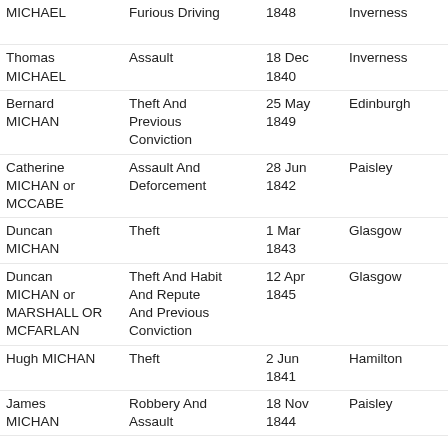| Name | Crime | Date | Place | Link |
| --- | --- | --- | --- | --- |
| Thomas MICHAEL | Furious Driving | 1848 | Inverness | Orde now |
| Thomas MICHAEL | Assault | 18 Dec 1840 | Inverness | Orde now |
| Bernard MICHAN | Theft And Previous Conviction | 25 May 1849 | Edinburgh | Orde now |
| Catherine MICHAN or MCCABE | Assault And Deforcement | 28 Jun 1842 | Paisley | Orde now |
| Duncan MICHAN | Theft | 1 Mar 1843 | Glasgow | Orde now |
| Duncan MICHAN or MARSHALL OR MCFARLAN | Theft And Habit And Repute And Previous Conviction | 12 Apr 1845 | Glasgow | Orde now |
| Hugh MICHAN | Theft | 2 Jun 1841 | Hamilton | Orde now |
| James MICHAN | Robbery And Assault | 18 Nov 1844 | Paisley | Orde now |